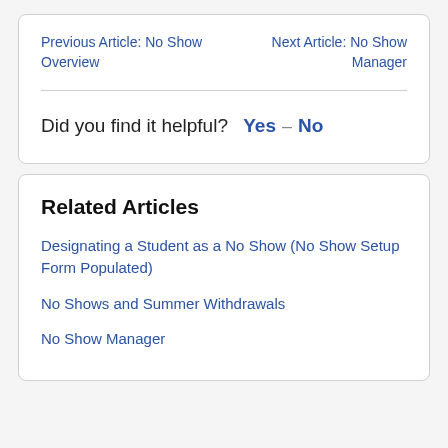Previous Article: No Show Overview
Next Article: No Show Manager
Did you find it helpful? Yes No
Related Articles
Designating a Student as a No Show (No Show Setup Form Populated)
No Shows and Summer Withdrawals
No Show Manager